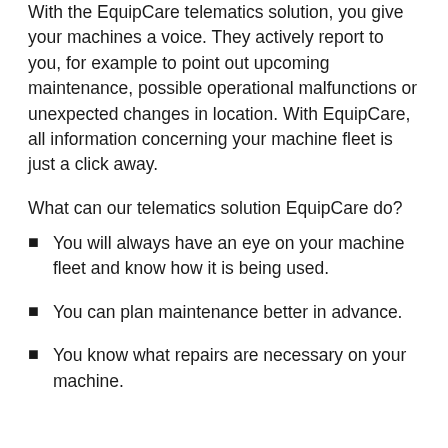With the EquipCare telematics solution, you give your machines a voice. They actively report to you, for example to point out upcoming maintenance, possible operational malfunctions or unexpected changes in location. With EquipCare, all information concerning your machine fleet is just a click away.
What can our telematics solution EquipCare do?
You will always have an eye on your machine fleet and know how it is being used.
You can plan maintenance better in advance.
You know what repairs are necessary on your machine.